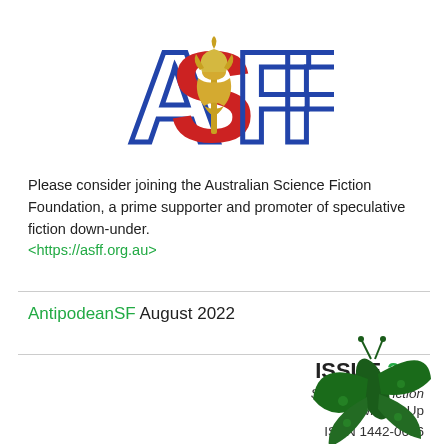[Figure (logo): ASFF logo with stylized letters A, S, F, F in blue and red with a golden flower/torch in the center]
Please consider joining the Australian Science Fiction Foundation, a prime supporter and promoter of speculative fiction down-under.
<https://asff.org.au>
AntipodeanSF August 2022
ISSUE 287
Speculative Fiction
Downside-Up
ISSN 1442-0686
Online Since Feb 1998
[Figure (illustration): Dark green butterfly/rocket illustration in bottom right corner]